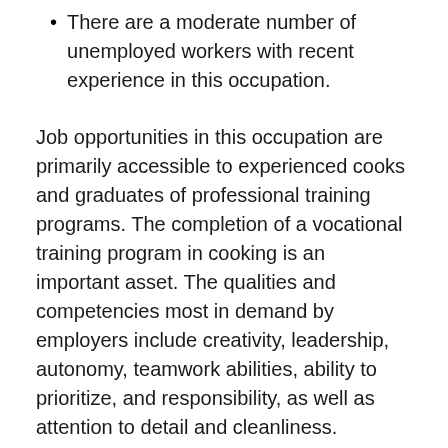There are a moderate number of unemployed workers with recent experience in this occupation.
Job opportunities in this occupation are primarily accessible to experienced cooks and graduates of professional training programs. The completion of a vocational training program in cooking is an important asset. The qualities and competencies most in demand by employers include creativity, leadership, autonomy, teamwork abilities, ability to prioritize, and responsibility, as well as attention to detail and cleanliness.
Employment growth in this occupation depends on the factors affecting the food services sector. This industry is subject to a very competitive business environment with low profit margins, resulting in a particularly large business turnover. The food